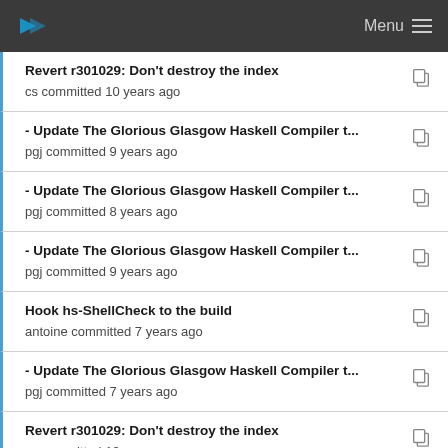Menu
Revert r301029: Don't destroy the index
cs committed 10 years ago
- Update The Glorious Glasgow Haskell Compiler t...
pgj committed 9 years ago
- Update The Glorious Glasgow Haskell Compiler t...
pgj committed 8 years ago
- Update The Glorious Glasgow Haskell Compiler t...
pgj committed 9 years ago
Hook hs-ShellCheck to the build
antoine committed 7 years ago
- Update The Glorious Glasgow Haskell Compiler t...
pgj committed 7 years ago
Revert r301029: Don't destroy the index
cs committed 10 years ago